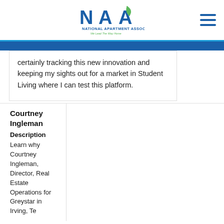[Figure (logo): National Apartment Association (NAA) logo with tagline 'We Lead The Way Home']
certainly tracking this new innovation and keeping my sights out for a market in Student Living where I can test this platform.
Courtney Ingleman
Description
Learn why Courtney Ingleman, Director, Real Estate Operations for Greystar in Irving, Te